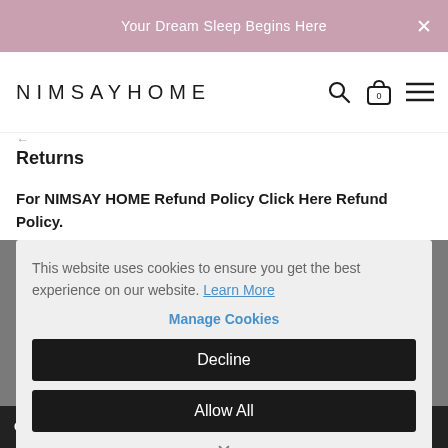Your Dream Sleep Begins Here ×
[Figure (logo): NIMSAYHOME logo with search, bag (0), and menu icons]
Returns
For NIMSAY HOME Refund Policy Click Here Refund Policy.
This website uses cookies to ensure you get the best experience on our website. Learn More
Manage Cookies
Decline
Allow All
CALL US NOW : +44 0161 202 1086